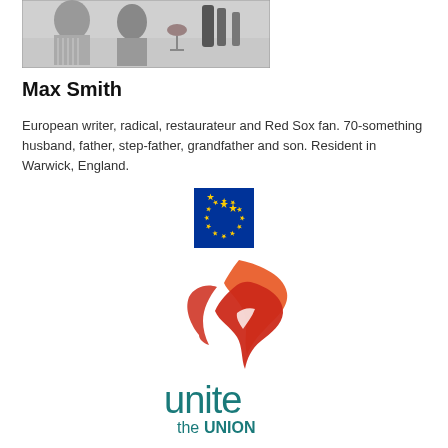[Figure (photo): Black and white photo of people dining at a table with bottles and glasses]
Max Smith
European writer, radical, restaurateur and Red Sox fan. 70-something husband, father, step-father, grandfather and son. Resident in Warwick, England.
[Figure (logo): European Union flag — blue square with circle of 12 yellow stars]
[Figure (logo): Unite the Union logo — red and orange flame/ribbon graphic above teal text reading 'unite the UNION']